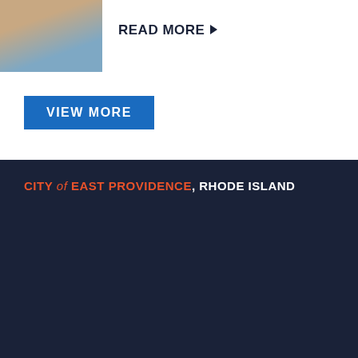[Figure (photo): Partial photo of a person, cropped at top-left corner]
READ MORE ▶
VIEW MORE
CITY of EAST PROVIDENCE, RHODE ISLAND
EAST PROVIDENCE CITY HALL
145 TAUNTON AVE.
EAST PROVIDENCE, RI 02914
(401) 435-7500
MONDAY - WEDNESDAY 8AM TO 4PM
THURSDAY 8AM TO 6PM
FRIDAY 8AM TO 1PM
CALENDAR